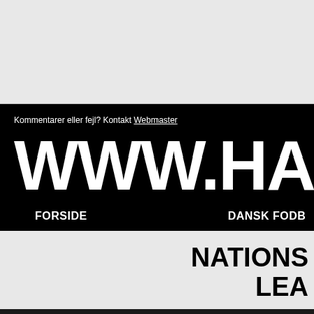Kommentarer eller fejl? Kontakt Webmaster
[Figure (logo): Website banner showing WWW.HA in large white bold text on black background]
FORSIDE   DANSK FODB
NATIONS LEAGUE
STILLING OG RESULTATER